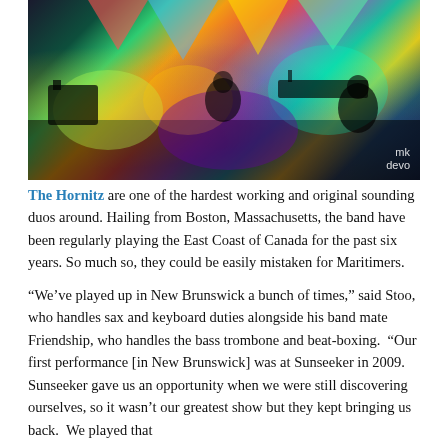[Figure (photo): Concert photo of The Hornitz performing live on stage with colorful psychedelic lighting in green, yellow, orange and purple. Musicians visible with instruments including saxophone and keyboards. 'mk devo' watermark in bottom right corner.]
The Hornitz are one of the hardest working and original sounding duos around. Hailing from Boston, Massachusetts, the band have been regularly playing the East Coast of Canada for the past six years. So much so, they could be easily mistaken for Maritimers.
“We’ve played up in New Brunswick a bunch of times,” said Stoo, who handles sax and keyboard duties alongside his band mate Friendship, who handles the bass trombone and beat-boxing.  “Our first performance [in New Brunswick] was at Sunseeker in 2009.  Sunseeker gave us an opportunity when we were still discovering ourselves, so it wasn’t our greatest show but they kept bringing us back.  We played that festivalontinue and...